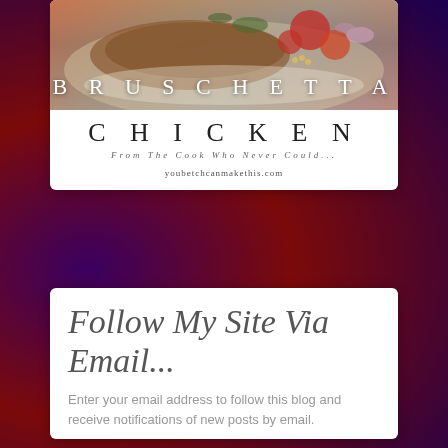[Figure (photo): Photo of bruschetta chicken dish with red tomatoes and toppings on a plate, with text overlay reading BRUSCHETTA]
CHICKEN
From The Cook Who Never Could...
youbetchcanmakethis.com
Follow My Site Via Email...
Enter your email address to follow this blog and receive notifications of new posts by email.